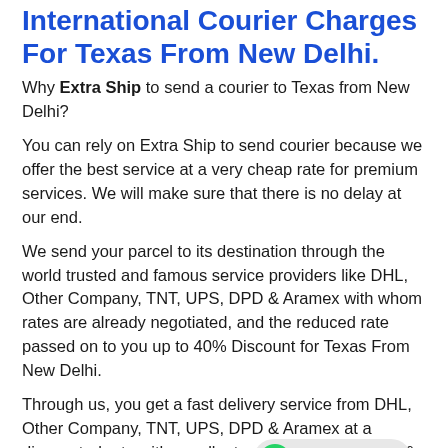International Courier Charges For Texas From New Delhi.
Why Extra Ship to send a courier to Texas from New Delhi?
You can rely on Extra Ship to send courier because we offer the best service at a very cheap rate for premium services. We will make sure that there is no delay at our end.
We send your parcel to its destination through the world trusted and famous service providers like DHL, Other Company, TNT, UPS, DPD & Aramex with whom rates are already negotiated, and the reduced rate passed on to you up to 40% Discount for Texas From New Delhi.
Through us, you get a fast delivery service from DHL, Other Company, TNT, UPS, DPD & Aramex at a discounted rate with excellent customer support call & email.